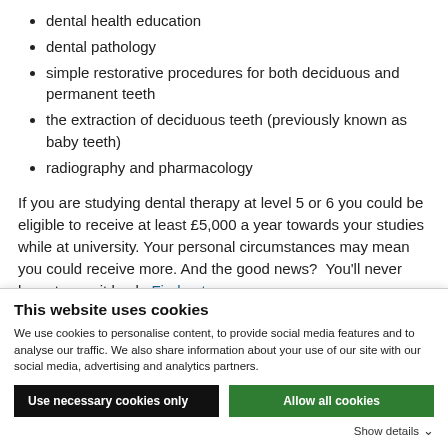dental health education
dental pathology
simple restorative procedures for both deciduous and permanent teeth
the extraction of deciduous teeth (previously known as baby teeth)
radiography and pharmacology
If you are studying dental therapy at level 5 or 6 you could be eligible to receive at least £5,000 a year towards your studies while at university. Your personal circumstances may mean you could receive more. And the good news?  You'll never have to pay it back. Find out more
This website uses cookies
We use cookies to personalise content, to provide social media features and to analyse our traffic. We also share information about your use of our site with our social media, advertising and analytics partners.
Use necessary cookies only | Allow all cookies | Show details